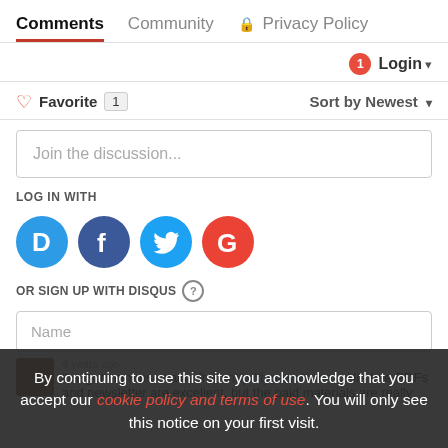Comments  Community  🔒 Privacy Policy
Login ▾
♡ Favorite  1    Sort by Newest ▾
Join the discussion...
LOG IN WITH
[Figure (infographic): Four social login buttons: Disqus (D, blue), Facebook (f, dark blue), Twitter (bird, light blue), Google (G, red)]
OR SIGN UP WITH DISQUS ?
Name
By continuing to use this site you acknowledge that you accept our cookie policy and terms of use. You will only see this notice on your first visit.
4 years ago
I've got immense value from http://typewolf.com/. His free PDFs and newsletter are excellent, but the paid materials are really well worth it if you do any sort of web des...